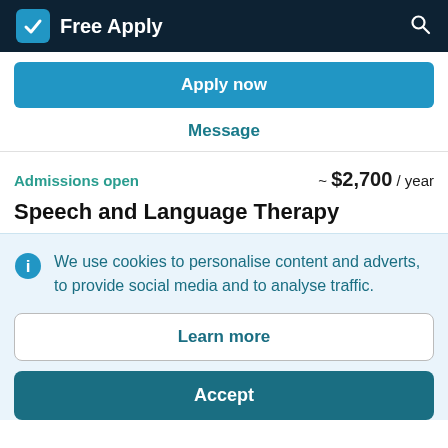Free Apply
Apply now
Message
Admissions open ~ $2,700 / year
Speech and Language Therapy
We use cookies to personalise content and adverts, to provide social media and to analyse traffic.
Learn more
Accept